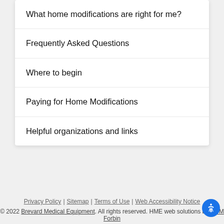What home modifications are right for me?
Frequently Asked Questions
Where to begin
Paying for Home Modifications
Helpful organizations and links
Privacy Policy | Sitemap | Terms of Use | Web Accessibility Notice
© 2022 Brevard Medical Equipment. All rights reserved. HME web solutions by VGM Forbin